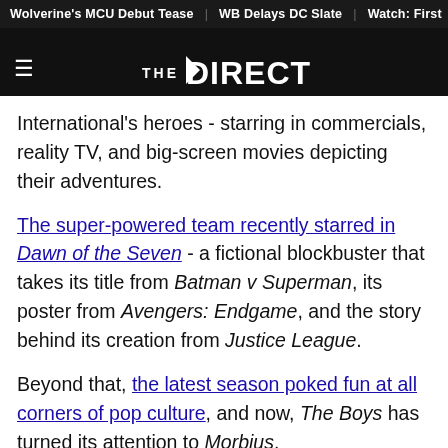Wolverine's MCU Debut Tease | WB Delays DC Slate | Watch: First
[Figure (logo): The Direct website logo with hamburger menu icon on dark background]
International's heroes - starring in commercials, reality TV, and big-screen movies depicting their adventures.
The super-powered team recently starred in Dawn of the Seven - a fictional blockbuster that takes its title from Batman v Superman, its poster from Avengers: Endgame, and the story behind its creation from Justice League.
Beyond that, the latest season poked fun at all corners of pop culture, and now, The Boys has turned its attention to Morbius.